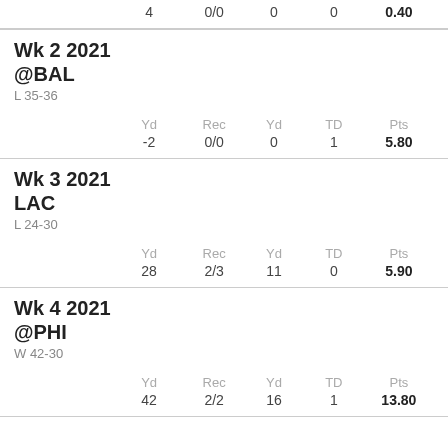| Yd | Rec | Yd | TD | Pts |
| --- | --- | --- | --- | --- |
| 4 | 0/0 | 0 | 0 | 0.40 |
Wk 2 2021
@BAL
L 35-36
| Yd | Rec | Yd | TD | Pts |
| --- | --- | --- | --- | --- |
| -2 | 0/0 | 0 | 1 | 5.80 |
Wk 3 2021
LAC
L 24-30
| Yd | Rec | Yd | TD | Pts |
| --- | --- | --- | --- | --- |
| 28 | 2/3 | 11 | 0 | 5.90 |
Wk 4 2021
@PHI
W 42-30
| Yd | Rec | Yd | TD | Pts |
| --- | --- | --- | --- | --- |
| 42 | 2/2 | 16 | 1 | 13.80 |